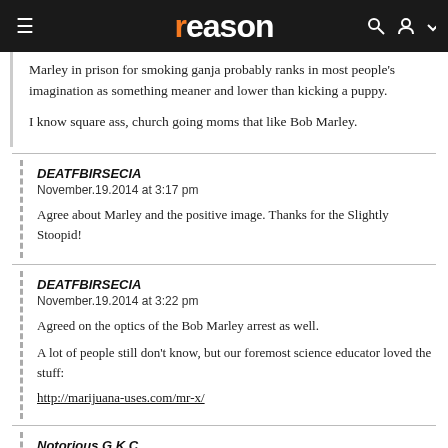reason
Marley in prison for smoking ganja probably ranks in most people's imagination as something meaner and lower than kicking a puppy.

I know square ass, church going moms that like Bob Marley.
DEATFBIRSECIA
November.19.2014 at 3:17 pm

Agree about Marley and the positive image. Thanks for the Slightly Stoopid!
DEATFBIRSECIA
November.19.2014 at 3:22 pm

Agreed on the optics of the Bob Marley arrest as well.

A lot of people still don't know, but our foremost science educator loved the stuff:

http://marijuana-uses.com/mr-x/
Notorious G.K.C.